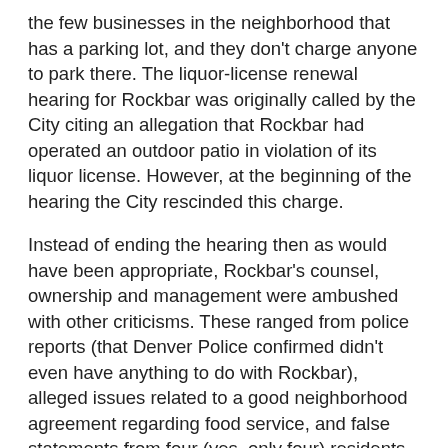the few businesses in the neighborhood that has a parking lot, and they don't charge anyone to park there. The liquor-license renewal hearing for Rockbar was originally called by the City citing an allegation that Rockbar had operated an outdoor patio in violation of its liquor license.  However, at the beginning of the hearing the City rescinded this charge.
Instead of ending the hearing then as would have been appropriate, Rockbar's counsel, ownership and management were ambushed with other criticisms.  These ranged from police reports (that Denver Police confirmed didn't even have anything to do with Rockbar), alleged issues related to a good neighborhood agreement regarding food service, and false statements from four (yes, only four) residents living or owning property within a 5-block radius of the business.  Regardless of not having any other neighbors' support of their criticism, these neighbors suggested that the Rockbar operates in a manner that is noisy and is a nuisance to the neighborhood. These neighbors even admitted that they had made efforts to get other residents to participate in the accusations against Rockbar, yet no other residents agreed and wanted to corroborate their complaints.